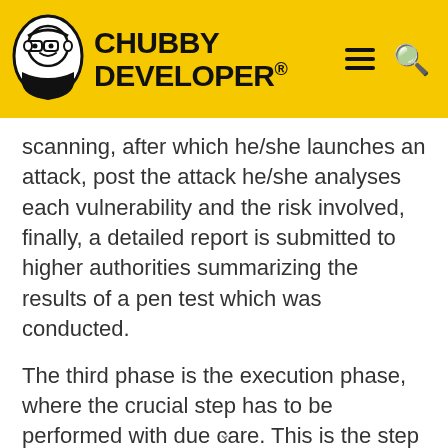CHUBBY DEVELOPER
scanning, after which he/she launches an attack, post the attack he/she analyses each vulnerability and the risk involved, finally, a detailed report is submitted to higher authorities summarizing the results of a pen test which was conducted.
The third phase is the execution phase, where the crucial step has to be performed with due care. This is the step where actual damage is done. It requires special skills and techniques to launch an attack on the targeted system. Using few techniques, an attacker will try to get data and compromise the system or launch a DDoS